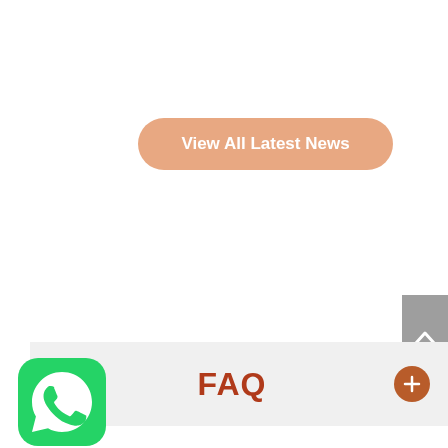[Figure (screenshot): Orange rounded button with white text reading 'View All Latest News']
[Figure (screenshot): Gray scroll-to-top button with upward chevron arrow on right edge]
[Figure (screenshot): Light gray FAQ bar with brown 'FAQ' text and an orange/brown plus icon on the right]
[Figure (logo): WhatsApp green rounded square icon with white phone/speech bubble logo in bottom left corner]